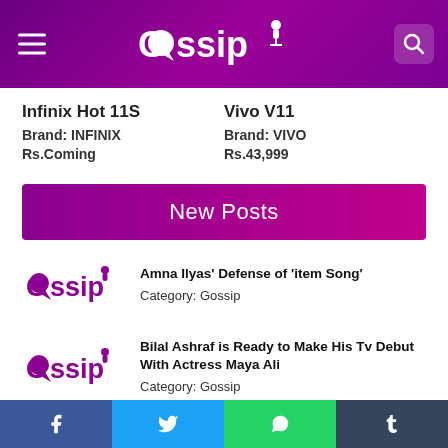GOSSIP
Infinix Hot 11S
Brand: INFINIX
Rs.Coming
Vivo V11
Brand: VIVO
Rs.43,999
New Posts
Amna Ilyas' Defense of 'item Song'
Category: Gossip
Bilal Ashraf is Ready to Make His Tv Debut With Actress Maya Ali
Category: Gossip
Facebook Twitter WhatsApp Tumblr